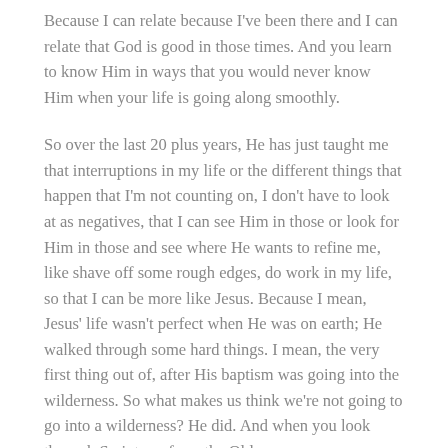Because I can relate because I've been there and I can relate that God is good in those times. And you learn to know Him in ways that you would never know Him when your life is going along smoothly.
So over the last 20 plus years, He has just taught me that interruptions in my life or the different things that happen that I'm not counting on, I don't have to look at as negatives, that I can see Him in those or look for Him in those and see where He wants to refine me, like shave off some rough edges, do work in my life, so that I can be more like Jesus. Because I mean, Jesus' life wasn't perfect when He was on earth; He walked through some hard things. I mean, the very first thing out of, after His baptism was going into the wilderness. So what makes us think we're not going to go into a wilderness? He did. And when you look through Scripture–from the Old